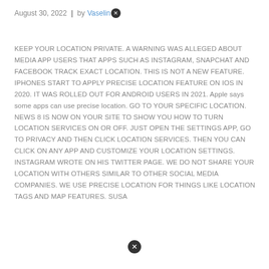August 30, 2022  |  by Vaseline
KEEP YOUR LOCATION PRIVATE. A WARNING WAS ALLEGED ABOUT MEDIA APP USERS THAT APPS SUCH AS INSTAGRAM, SNAPCHAT AND FACEBOOK TRACK EXACT LOCATION. THIS IS NOT A NEW FEATURE. IPHONES START TO APPLY PRECISE LOCATION FEATURE ON IOS IN 2020. IT WAS ROLLED OUT FOR ANDROID USERS IN 2021. Apple says some apps can use precise location. GO TO YOUR SPECIFIC LOCATION. NEWS 8 IS NOW ON YOUR SITE TO SHOW YOU HOW TO TURN LOCATION SERVICES ON OR OFF. JUST OPEN THE SETTINGS APP, GO TO PRIVACY AND THEN CLICK LOCATION SERVICES. THEN YOU CAN CLICK ON ANY APP AND CUSTOMIZE YOUR LOCATION SETTINGS. INSTAGRAM WROTE ON HIS TWITTER PAGE. WE DO NOT SHARE YOUR LOCATION WITH OTHERS SIMILAR TO OTHER SOCIAL MEDIA COMPANIES. WE USE PRECISE LOCATION FOR THINGS LIKE LOCATION TAGS AND MAP FEATURES. SUSA